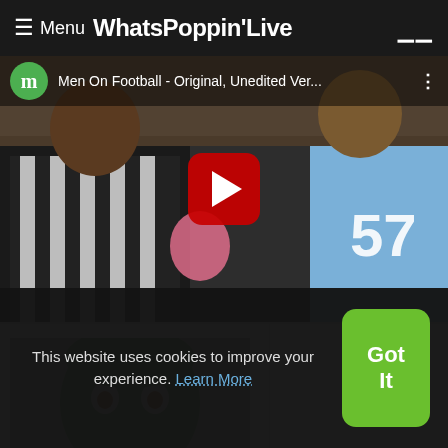≡ Menu WhatsPoppin'Live
[Figure (screenshot): YouTube video embed showing 'Men On Football - Original, Unedited Ver...' with a green avatar icon labeled 'm', a red play button in the center, and two men in sports/referee clothing in the background]
[Figure (photo): Thumbnail image of a person with a green face/mask and wide eyes against a plain background]
This website uses cookies to improve your experience. Learn More
Got It